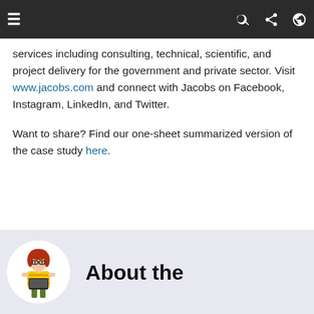≡  🔍  share  🌐
services including consulting, technical, scientific, and project delivery for the government and private sector. Visit www.jacobs.com and connect with Jacobs on Facebook, Instagram, LinkedIn, and Twitter.
Want to share? Find our one-sheet summarized version of the case study here.
[Figure (illustration): Light purple/lavender banner section at bottom with a circular white avatar containing an illustrated woman with red hair holding a laptop/books, wearing yellow top and green pants. Next to her is bold text reading 'About the']